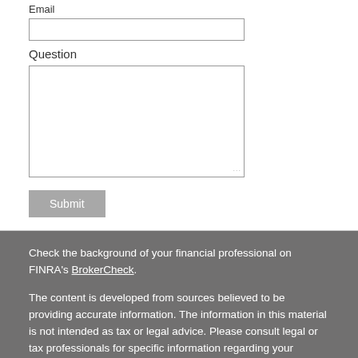Email
Question
Submit
Check the background of your financial professional on FINRA's BrokerCheck.
The content is developed from sources believed to be providing accurate information. The information in this material is not intended as tax or legal advice. Please consult legal or tax professionals for specific information regarding your individual situation. Some of this material was developed and produced by